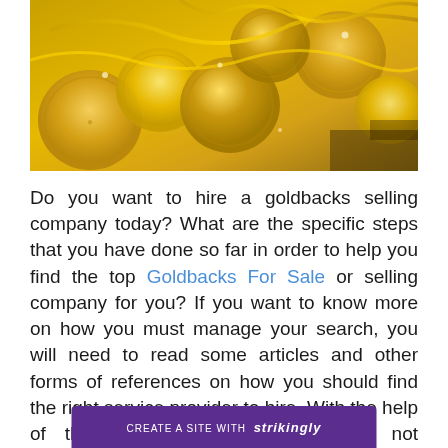[Figure (photo): Close-up photograph of gold coins and gold jewelry chains piled together]
Do you want to hire a goldbacks selling company today? What are the specific steps that you have done so far in order to help you find the top Goldbacks For Sale or selling company for you? If you want to know more on how you must manage your search, you will need to read some articles and other forms of references on how you should find the right service provider to hire. With the help of this article, hopefully, you may not encounter any kinds of the